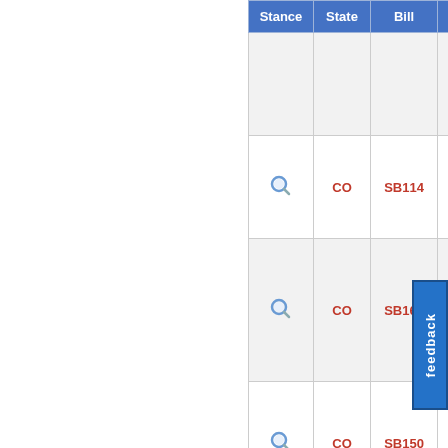| Stance | State | Bill | Sta... |
| --- | --- | --- | --- |
|  |  |  |  |
| [icon] | CO | SB114 | Pas... |
| [icon] | CO | SB163 | Pas... |
| [icon] | CO | SB150 |  |